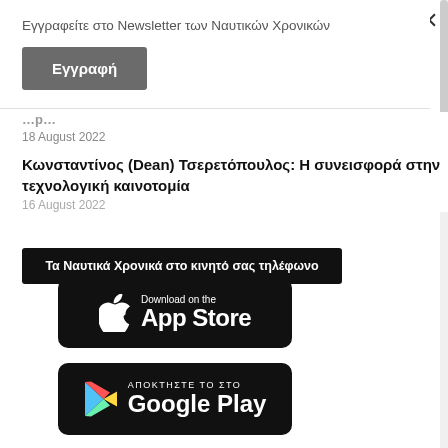Εγγραφείτε στο Newsletter των Ναυτικών Χρονικών
Εγγραφή
18 August 2022
Κωνσταντίνος (Dean) Τσερετόπουλος: Η συνεισφορά στην τεχνολογική καινοτομία
16 August 2022
Τα Ναυτικά Χρονικά στο κινητό σας τηλέφωνο
[Figure (logo): Download on the App Store badge - black rounded rectangle with Apple logo and text 'Download on the App Store']
[Figure (logo): Google Play badge - black rounded rectangle with Google Play triangle logo and text 'ΑΠΟΚΤΗΣΤΕ ΤΟ ΣΤΟ Google Play']